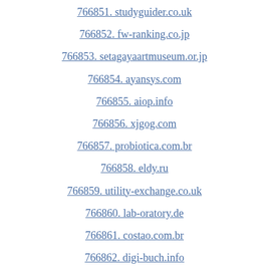766851. studyguider.co.uk
766852. fw-ranking.co.jp
766853. setagayaartmuseum.or.jp
766854. ayansys.com
766855. aiop.info
766856. xjgog.com
766857. probiotica.com.br
766858. eldy.ru
766859. utility-exchange.co.uk
766860. lab-oratory.de
766861. costao.com.br
766862. digi-buch.info
766863. shoujoai.com
766864. haykarot.com
766865. grazio.cz